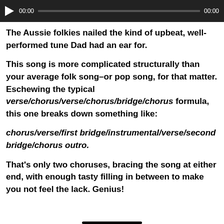[Figure (screenshot): Audio player bar with play button, 00:00 timestamps, and progress bar on dark background]
The Aussie folkies nailed the kind of upbeat, well-performed tune Dad had an ear for.
This song is more complicated structurally than your average folk song–or pop song, for that matter. Eschewing the typical verse/chorus/verse/chorus/bridge/chorus formula, this one breaks down something like:
chorus/verse/first bridge/instrumental/verse/second bridge/chorus outro.
That's only two choruses, bracing the song at either end, with enough tasty filling in between to make you not feel the lack. Genius!